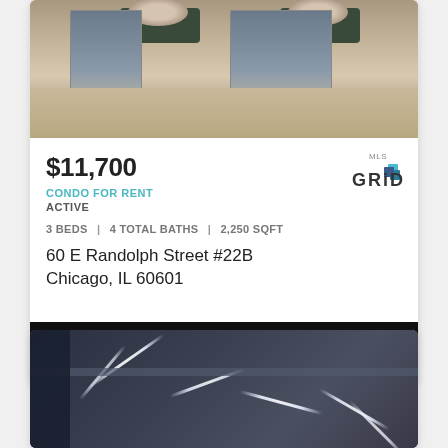[Figure (photo): Interior lobby photo showing glass doors, dark planters with flowers, and light wood/stone flooring]
$11,700
CONDO FOR RENT
ACTIVE
3 BEDS | 4 TOTAL BATHS | 2,250 SQFT
60 E Randolph Street #22B
Chicago, IL 60601
[Figure (logo): MLS GRID logo]
[Figure (photo): Partial second listing card showing interior with dramatic pendant lighting in dark setting]